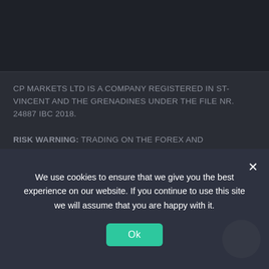CP MARKETS LTD IS A COMPANY REGISTERED IN ST-VINCENT AND THE GRENADINES UNDER THE FILE NR. 24887 IBC 2018.
RISK WARNING: TRADING ON THE FOREX AND COMMODITIES MARKETS INVOLVES SUBSTANTIAL RISKS, INCLUDING COMPLETE POSSIBLE LOSS OF FUNDS AND OTHER LOSSES AND IS NOT SUITABLE FOR ALL MEMBERS. CLIENTS SHOULD MAKE AN INDEPENDENT JUDGEMENT AS TO WHETHER TRADING IS APPROPRIATE FOR THEM IN THE LIGHT OF THEIR
We use cookies to ensure that we give you the best experience on our website. If you continue to use this site we will assume that you are happy with it.